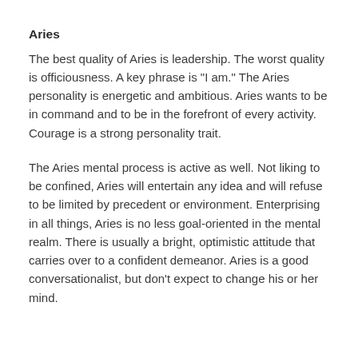Aries
The best quality of Aries is leadership. The worst quality is officiousness. A key phrase is "I am." The Aries personality is energetic and ambitious. Aries wants to be in command and to be in the forefront of every activity. Courage is a strong personality trait.
The Aries mental process is active as well. Not liking to be confined, Aries will entertain any idea and will refuse to be limited by precedent or environment. Enterprising in all things, Aries is no less goal-oriented in the mental realm. There is usually a bright, optimistic attitude that carries over to a confident demeanor. Aries is a good conversationalist, but don’t expect to change his or her mind.